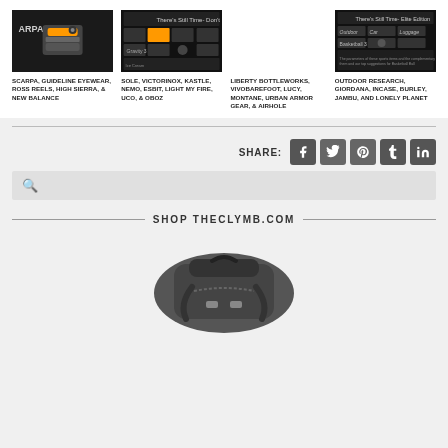[Figure (photo): SCARPA branded outdoor gear/shoe close-up on dark background]
SCARPA, GUIDELINE EYEWEAR, ROSS REELS, HIGH SIERRA, & NEW BALANCE
[Figure (screenshot): App or website interface with dark theme and product images]
SOLE, VICTORINOX, KASTLE, NEMO, ESBIT, LIGHT MY FIRE, UCO, & OBOZ
LIBERTY BOTTLEWORKS, VIVOBAREFOOT, LUCY, MONTANE, URBAN ARMOR GEAR, & AIRHOLE
[Figure (screenshot): App or website interface with dark theme, sports brands logos]
OUTDOOR RESEARCH, GIORDANA, INCASE, BURLEY, JAMBU, AND LONELY PLANET
SHARE:
SHOP THECLYMB.COM
[Figure (photo): Black backpack or bag product photo on light background]